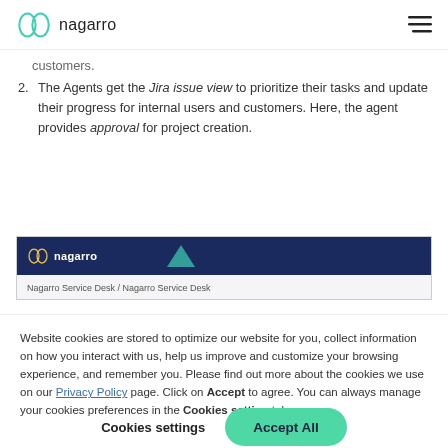nagarro
customers.
2. The Agents get the Jira issue view to prioritize their tasks and update their progress for internal users and customers. Here, the agent provides approval for project creation.
[Figure (screenshot): Screenshot of nagarro Jira service desk interface showing dark navy navigation bar with nagarro logo and breadcrumb reading 'Nagarro Service Desk / Nagarro Service Desk']
Website cookies are stored to optimize our website for you, collect information on how you interact with us, help us improve and customize your browsing experience, and remember you. Please find out more about the cookies we use on our Privacy Policy page. Click on Accept to agree. You can always manage your cookies preferences in the Cookies setting tab.
Cookies settings    Accept All